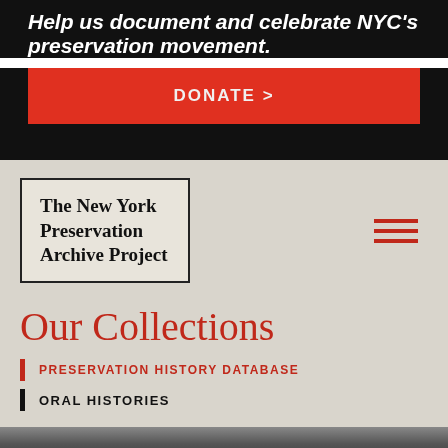Help us document and celebrate NYC's preservation movement.
DONATE >
[Figure (logo): The New York Preservation Archive Project logo in a black-bordered box]
[Figure (other): Hamburger menu icon with three red horizontal lines]
Our Collections
PRESERVATION HISTORY DATABASE
ORAL HISTORIES
[Figure (photo): Black and white photograph strip at bottom of page]